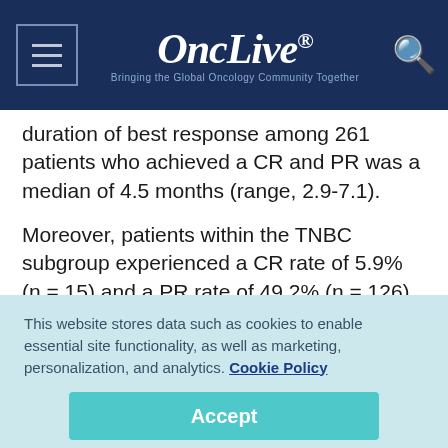OncLive® — Bringing the Global Oncology Community Together
duration of best response among 261 patients who achieved a CR and PR was a median of 4.5 months (range, 2.9-7.1).
Moreover, patients within the TNBC subgroup experienced a CR rate of 5.9% (n = 15) and a PR rate of 49.2% (n = 126). Moreover, 18.0% (n = 46) of
This website stores data such as cookies to enable essential site functionality, as well as marketing, personalization, and analytics. Cookie Policy
Accept
Deny